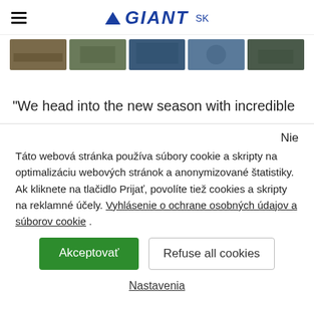GIANT SK
[Figure (photo): Horizontal strip of 5 thumbnail outdoor/cycling photos]
“We head into the new season with incredible
Nie
Táto webová stránka používa súbory cookie a skripty na optimalizáciu webových stránok a anonymizované štatistiky. Ak kliknete na tlačidlo Prijať, povolite tiež cookies a skripty na reklamné účely. Vyhlásenie o ochrane osobných údajov a súborov cookie .
Akceptovať
Refuse all cookies
Nastavenia